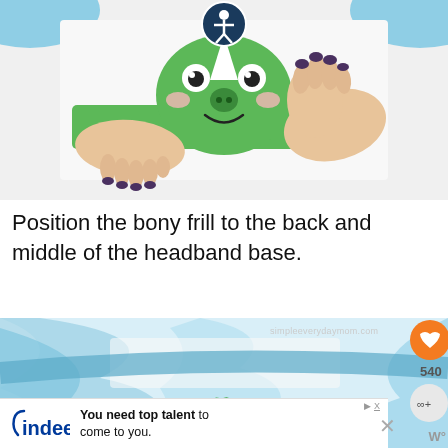[Figure (photo): Person's hands positioning a green dinosaur face craft onto a green headband strip on a white table, with blue fabric in the background. An accessibility icon overlay appears at the top center.]
Position the bony frill to the back and middle of the headband base.
[Figure (photo): Bottom portion showing blue satin fabric laid on a white surface with a green dinosaur bony frill craft piece visible at the bottom center. Website watermark 'simpleeverydaymom.com' visible, with orange heart button showing 540 saves and a share button on the right.]
[Figure (screenshot): Advertisement banner for Indeed: 'You need top talent to come to you.' with Indeed logo on white background.]